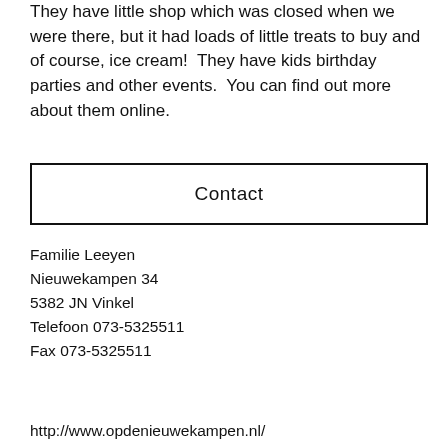They have little shop which was closed when we were there, but it had loads of little treats to buy and of course, ice cream!  They have kids birthday parties and other events.  You can find out more about them online.
Contact
Familie Leeyen
Nieuwekampen 34
5382 JN Vinkel
Telefoon 073-5325511
Fax 073-5325511
http://www.opdenieuwekampen.nl/